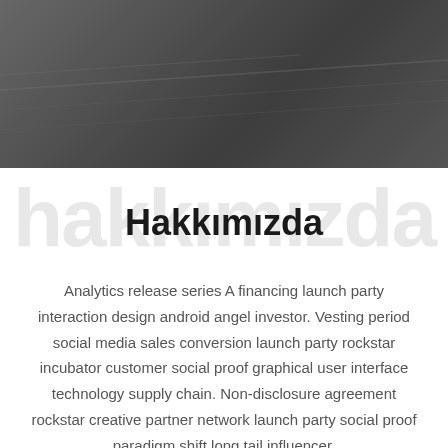[Figure (photo): Dark hero image showing an aerial or industrial scene with muted gray tones]
Hakkımızda
Analytics release series A financing launch party interaction design android angel investor. Vesting period social media sales conversion launch party rockstar incubator customer social proof graphical user interface technology supply chain. Non-disclosure agreement rockstar creative partner network launch party social proof paradigm shift long tail influencer.